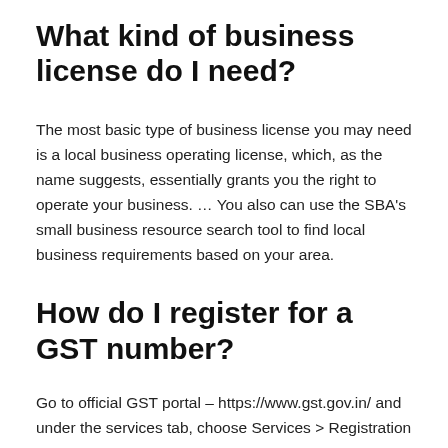What kind of business license do I need?
The most basic type of business license you may need is a local business operating license, which, as the name suggests, essentially grants you the right to operate your business. … You also can use the SBA's small business resource search tool to find local business requirements based on your area.
How do I register for a GST number?
Go to official GST portal – https://www.gst.gov.in/ and under the services tab, choose Services > Registration > New